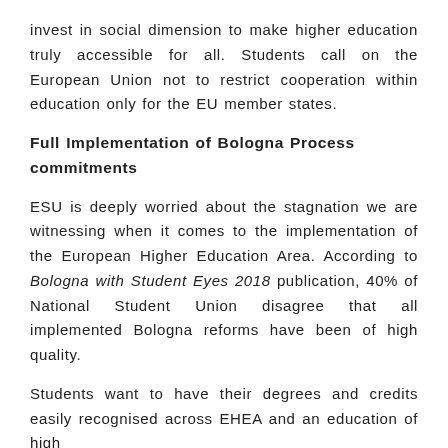invest in social dimension to make higher education truly accessible for all. Students call on the European Union not to restrict cooperation within education only for the EU member states.
Full Implementation of Bologna Process commitments
ESU is deeply worried about the stagnation we are witnessing when it comes to the implementation of the European Higher Education Area. According to Bologna with Student Eyes 2018 publication, 40% of National Student Union disagree that all implemented Bologna reforms have been of high quality.
Students want to have their degrees and credits easily recognised across EHEA and an education of high